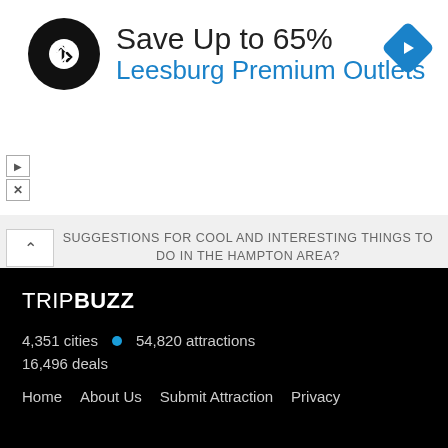[Figure (infographic): Advertisement banner: black circular logo with double-arrow icon, text 'Save Up to 65% Leesburg Premium Outlets', blue diamond navigation icon top right, play and close controls on left side]
SUGGESTIONS FOR COOL AND INTERESTING THINGS TO DO IN THE HAMPTON AREA?
ADD A NEW ATTRACTION TO TRIPBUZZ!
[Figure (other): Blue circular scroll-up chevron button]
TRIPBUZZ
4,351 cities • 54,820 attractions
16,496 deals
Home   About Us   Submit Attraction   Privacy